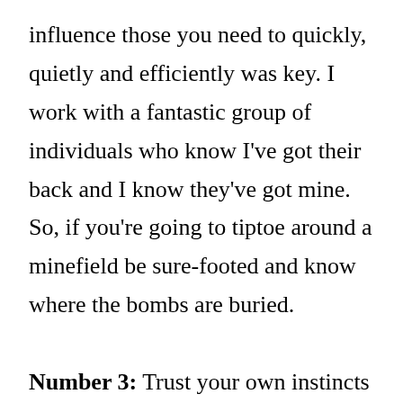influence those you need to quickly, quietly and efficiently was key. I work with a fantastic group of individuals who know I've got their back and I know they've got mine. So, if you're going to tiptoe around a minefield be sure-footed and know where the bombs are buried.

Number 3: Trust your own instincts and hold the line. As I said earlier, it was a calculated risk. But my instincts told me there was a very good chance this would land well with